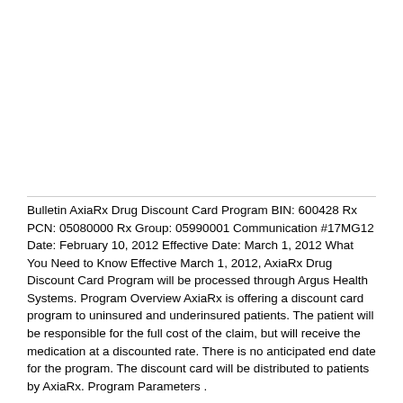Bulletin AxiaRx Drug Discount Card Program BIN: 600428 Rx PCN: 05080000 Rx Group: 05990001 Communication #17MG12 Date: February 10, 2012 Effective Date: March 1, 2012 What You Need to Know Effective March 1, 2012, AxiaRx Drug Discount Card Program will be processed through Argus Health Systems. Program Overview AxiaRx is offering a discount card program to uninsured and underinsured patients. The patient will be responsible for the full cost of the claim, but will receive the medication at a discounted rate. There is no anticipated end date for the program. The discount card will be distributed to patients by AxiaRx. Program Parameters .